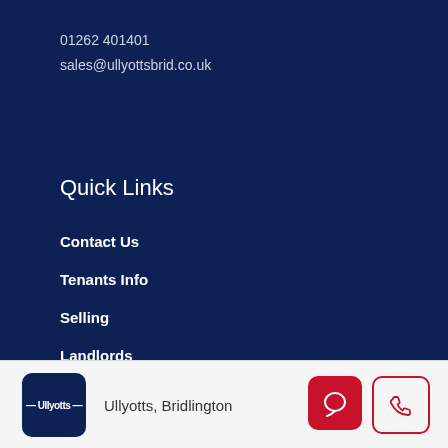01262 401401
sales@ullyottsbrid.co.uk
Quick Links
Contact Us
Tenants Info
Selling
Landlords
Legal Links
Accessibility
Ullyotts, Bridlington